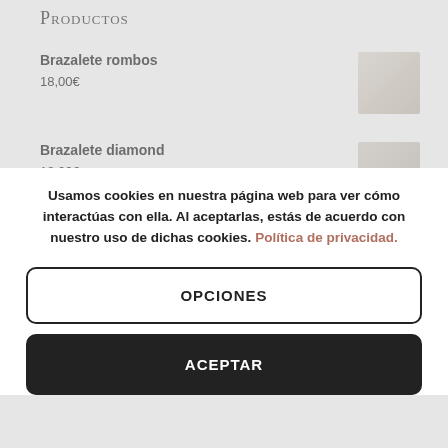Productos
Brazalete rombos
18,00€
Brazalete diamond
18,00€
Pendientes estrellas bright
Usamos cookies en nuestra página web para ver cómo interactúas con ella. Al aceptarlas, estás de acuerdo con nuestro uso de dichas cookies. Política de privacidad.
OPCIONES
ACEPTAR